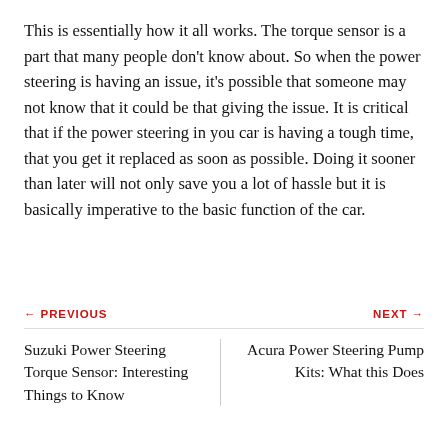This is essentially how it all works. The torque sensor is a part that many people don't know about. So when the power steering is having an issue, it's possible that someone may not know that it could be that giving the issue. It is critical that if the power steering in you car is having a tough time, that you get it replaced as soon as possible. Doing it sooner than later will not only save you a lot of hassle but it is basically imperative to the basic function of the car.
← PREVIOUS
NEXT →
Suzuki Power Steering Torque Sensor: Interesting Things to Know
Acura Power Steering Pump Kits: What this Does